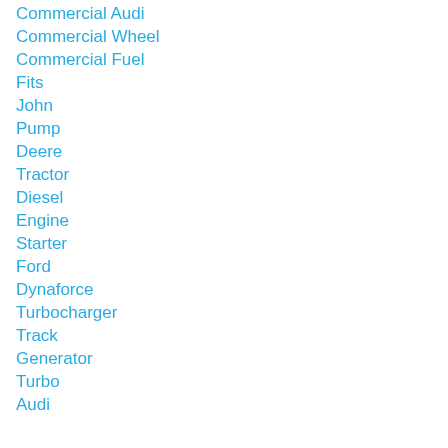Commercial Audi
Commercial Wheel
Commercial Fuel
Fits
John
Pump
Deere
Tractor
Diesel
Engine
Starter
Ford
Dynaforce
Turbocharger
Track
Generator
Turbo
Audi